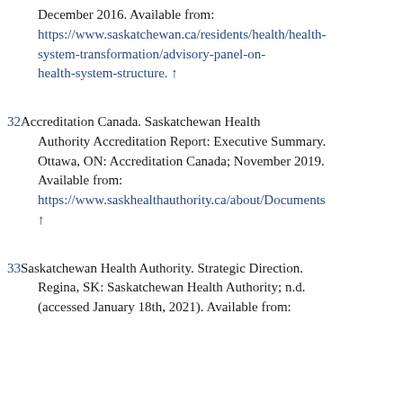December 2016. Available from: https://www.saskatchewan.ca/residents/health/health-system-transformation/advisory-panel-on-health-system-structure. ↑
32Accreditation Canada. Saskatchewan Health Authority Accreditation Report: Executive Summary. Ottawa, ON: Accreditation Canada; November 2019. Available from: https://www.saskhealthauthority.ca/about/Documents ↑
33Saskatchewan Health Authority. Strategic Direction. Regina, SK: Saskatchewan Health Authority; n.d. (accessed January 18th, 2021). Available from: